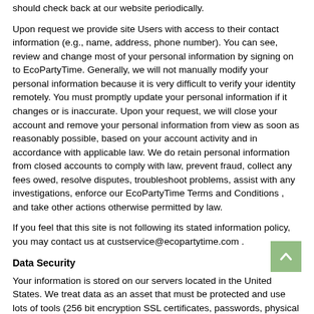should check back at our website periodically.
Upon request we provide site Users with access to their contact information (e.g., name, address, phone number). You can see, review and change most of your personal information by signing on to EcoPartyTime. Generally, we will not manually modify your personal information because it is very difficult to verify your identity remotely. You must promptly update your personal information if it changes or is inaccurate. Upon your request, we will close your account and remove your personal information from view as soon as reasonably possible, based on your account activity and in accordance with applicable law. We do retain personal information from closed accounts to comply with law, prevent fraud, collect any fees owed, resolve disputes, troubleshoot problems, assist with any investigations, enforce our EcoPartyTime Terms and Conditions , and take other actions otherwise permitted by law.
If you feel that this site is not following its stated information policy, you may contact us at custservice@ecopartytime.com .
Data Security
Your information is stored on our servers located in the United States. We treat data as an asset that must be protected and use lots of tools (256 bit encryption SSL certificates, passwords, physical security, etc.) to protect your personal information against unauthorized access and disclosure. However, as you probably know, third parties may unlawfully intercept or access transmissions or private communications, and other users may abuse or misuse your personal information that they collect from the site. Therefore, although we work very hard to protect your privacy, we do not promise, and you should not expect, that your personal information